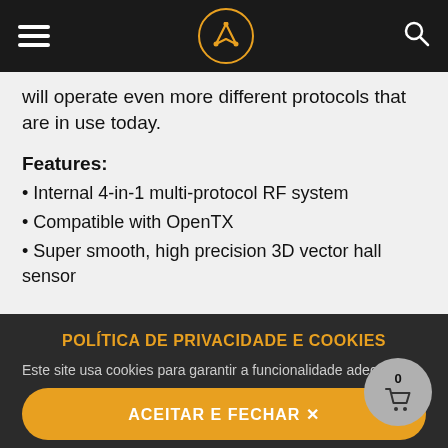[Navigation header with hamburger menu, crown logo, and search icon]
will operate even more different protocols that are in use today.
Features:
• Internal 4-in-1 multi-protocol RF system
• Compatible with OpenTX
• Super smooth, high precision 3D vector hall sensor
POLÍTICA DE PRIVACIDADE E COOKIES
Este site usa cookies para garantir a funcionalidade adequada do carrinho de compras e do andamento do checkout. Ao continuar a navegar no site, você concorda com o uso de cookies. Clique aqui para saber mais sobre a política de cookies.
ACEITAR E FECHAR ✕